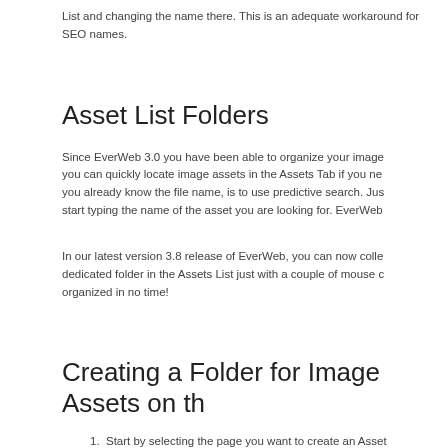List and changing the name there. This is an adequate workaround for SEO names.
Asset List Folders
Since EverWeb 3.0 you have been able to organize your images you can quickly locate image assets in the Assets Tab if you ne you already know the file name, is to use predictive search. Jus start typing the name of the asset you are looking for. EverWeb
In our latest version 3.8 release of EverWeb, you can now colle dedicated folder in the Assets List just with a couple of mouse c organized in no time!
Creating a Folder for Image Assets on th
1. Start by selecting the page you want to create an Asset
2. Click on the Assets Tab.
3. Click on the Settings Cog/Button and choose the option